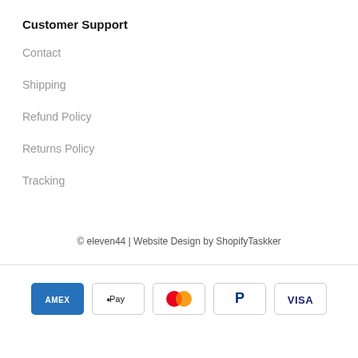Customer Support
Contact
Shipping
Refund Policy
Returns Policy
Tracking
© eleven44 | Website Design by ShopifyTaskker
[Figure (other): Payment method icons: American Express, Apple Pay, Mastercard, PayPal, Visa]